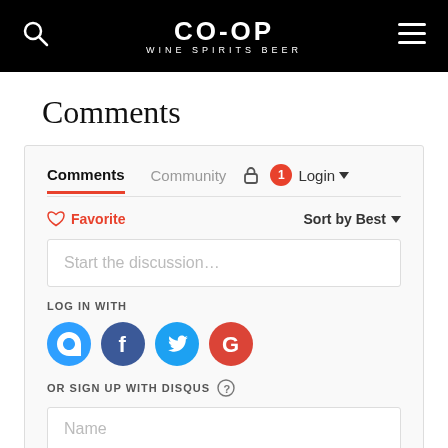CO-OP WINE SPIRITS BEER
Comments
[Figure (screenshot): Disqus comments widget with tabs (Comments, Community), lock icon, notification badge (1), Login dropdown, Favorite button, Sort by Best dropdown, discussion input field, LOG IN WITH social icons (Disqus, Facebook, Twitter, Google), OR SIGN UP WITH DISQUS with help icon, and Name input field.]